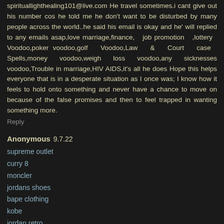spirituallighthealing101@live.com He travel sometimes.i cant give out his number cos he told me he don't want to be disturbed by many people across the world..he said his email is okay and he' will replied to any emails asap,love marriage,finance, job promotion ,lottery Voodoo,poker voodoo,golf Voodoo,Law & Court case Spells,money voodoo,weigh loss voodoo,any sicknesses voodoo,Trouble in marriage,HIV AIDS,it's all he does Hope this helps everyone that is in a desperate situation as I once was; I know how it feels to hold onto something and never have a chance to move on because of the false promises and then to feel trapped in wanting something more.
Reply
Anonymous 9.7.22
supreme outlet
curry 8
moncler
jordans shoes
bape clothing
kobe
jordan retro
supreme hoodie
jordan shoes
air jordan
Reply